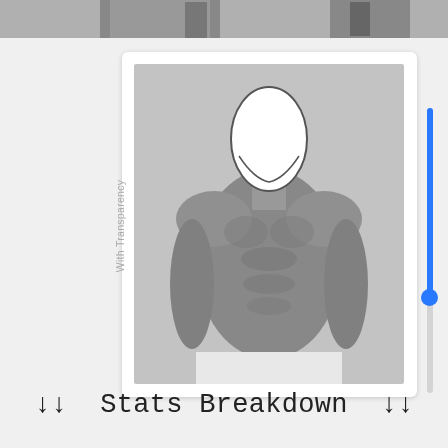[Figure (photo): Top strip showing partial photo of a person at top of page]
[Figure (photo): Body image showing shirtless male torso with blank/white mannequin head overlaid, with 'With Transparency' label rotated vertically on left side and a blue vertical slider on the right]
↓↓  Stats Breakdown  ↓↓